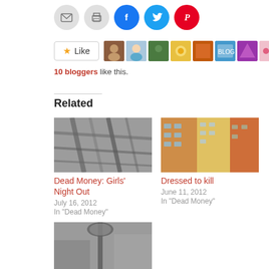[Figure (other): Social sharing icons row: email (gray circle), print (gray circle), Facebook (blue circle), Twitter (blue circle), Pinterest (red circle)]
[Figure (other): Like button with star icon and row of 9 blogger avatar thumbnails]
10 bloggers like this.
Related
[Figure (photo): Black and white photo of a building fire escape / scaffolding structure]
Dead Money: Girls' Night Out
July 16, 2012
In "Dead Money"
[Figure (photo): Color photo of tall buildings viewed from below at an angle, featuring warm orange and blue tones]
Dressed to kill
June 11, 2012
In "Dead Money"
[Figure (photo): Black and white photo of a lamp post or street fixture, partially visible at bottom of page]